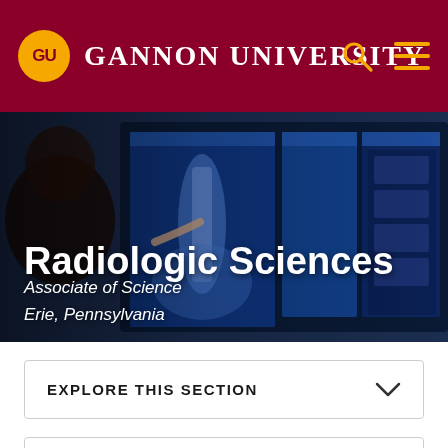GU Gannon University
[Figure (photo): Person pointing at radiologic scan images on a digital display screen showing spine and pelvic X-rays]
Radiologic Sciences
Associate of Science
Erie, Pennsylvania
EXPLORE THIS SECTION
REQUEST INFORMATION